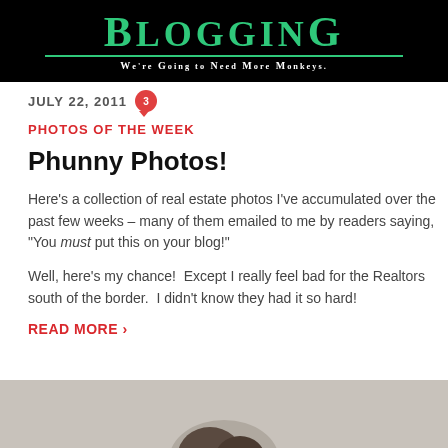[Figure (screenshot): Blog header banner with black background. 'BLOGGING' in large teal serif font with underline, and subtitle 'We're Going to Need More Monkeys.' in white small caps.]
JULY 22, 2011
PHOTOS OF THE WEEK
Phunny Photos!
Here's a collection of real estate photos I've accumulated over the past few weeks – many of them emailed to me by readers saying, "You must put this on your blog!"
Well, here's my chance!  Except I really feel bad for the Realtors south of the border.  I didn't know they had it so hard!
READ MORE ›
[Figure (photo): Partial view of a photo at the bottom of the page, light gray/tan background suggesting beginning of next blog post image.]